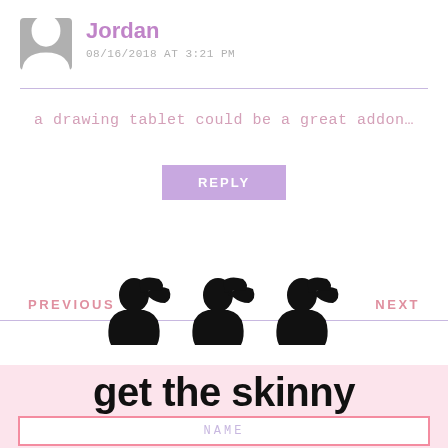[Figure (illustration): Gray avatar/profile silhouette icon in a rounded square]
Jordan
08/16/2018 AT 3:21 PM
a drawing tablet could be a great addon…
REPLY
PREVIOUS
NEXT
[Figure (illustration): Three black silhouette icons of a woman's head with ponytail (Barbie-style), repeated three times side by side]
get the skinny
NAME